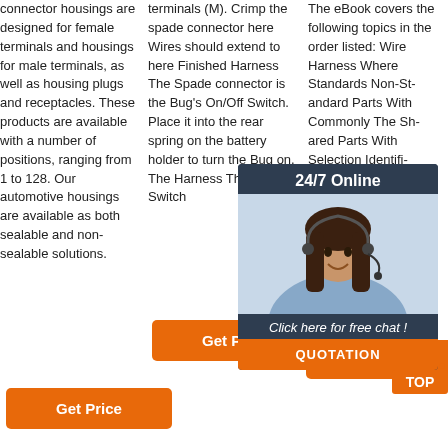connector housings are designed for female terminals and housings for male terminals, as well as housing plugs and receptacles. These products are available with a number of positions, ranging from 1 to 128. Our automotive housings are available as both sealable and non-sealable solutions.
terminals (M). Crimp the spade connector here Wires should extend to here Finished Harness The Spade connector is the Bug's On/Off Switch. Place it into the rear spring on the battery holder to turn the Bug on. The Harness The On/Off Switch
The eBook covers the following topics in the order listed: Wire Harness Where Standards Non-Standard Parts With Commonly The Sh Parts With Selection Identification Connector Selection Other Termination
[Figure (photo): 24/7 Online chat widget with a woman wearing a headset, dark background, orange QUOTATION button at bottom]
Get Price (button, column 1)
Get Price (button, column 2)
Get Price (button, column 3)
[Figure (illustration): Orange TOP button with dotted house/arrow icon]